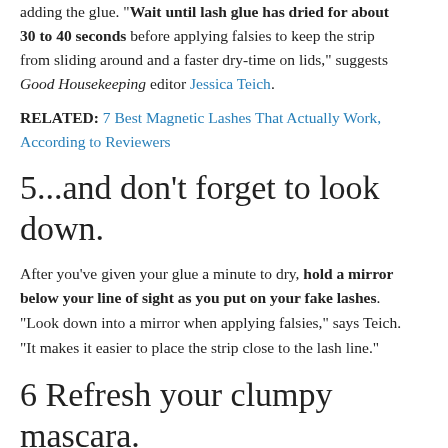adding the glue. "Wait until lash glue has dried for about 30 to 40 seconds before applying falsies to keep the strip from sliding around and a faster dry-time on lids," suggests Good Housekeeping editor Jessica Teich.
RELATED: 7 Best Magnetic Lashes That Actually Work, According to Reviewers
5...and don't forget to look down.
After you've given your glue a minute to dry, hold a mirror below your line of sight as you put on your fake lashes. "Look down into a mirror when applying falsies," says Teich. "It makes it easier to place the strip close to the lash line."
6 Refresh your clumpy mascara.
If your favorite tube of mascara is starting to get a little clumpy, add a few drops of saline solution and swirl your